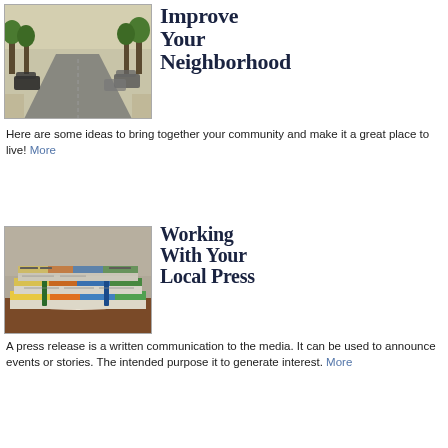[Figure (photo): Street scene with cars parked on both sides of a tree-lined residential road]
Improve Your Neighborhood
Here are some ideas to bring together your community and make it a great place to live! More
[Figure (photo): Stack of rolled and folded newspapers on a wooden surface]
Working With Your Local Press
A press release is a written communication to the media. It can be used to announce events or stories. The intended purpose it to generate interest. More